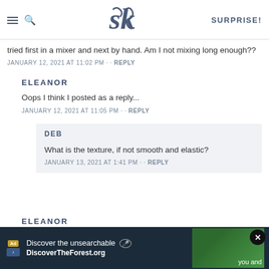SK | SURPRISE!
tried first in a mixer and next by hand. Am I not mixing long enough??
JANUARY 12, 2021 AT 11:02 PM · · REPLY
ELEANOR
Oops I think I posted as a reply...
JANUARY 12, 2021 AT 11:05 PM · · REPLY
DEB
What is the texture, if not smooth and elastic?
JANUARY 13, 2021 AT 1:41 PM · · REPLY
ELEANOR
Discover the unsearchable · DiscoverTheForest.org · you and